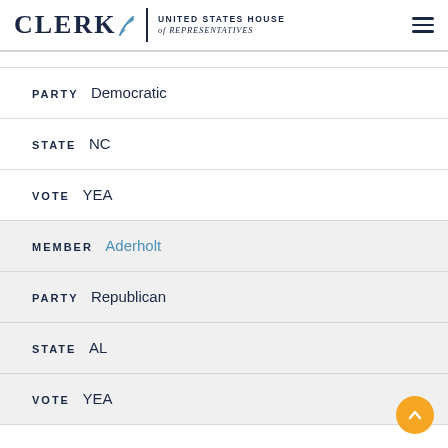CLERK United States House of Representatives
PARTY Democratic
STATE NC
VOTE YEA
MEMBER Aderholt
PARTY Republican
STATE AL
VOTE YEA